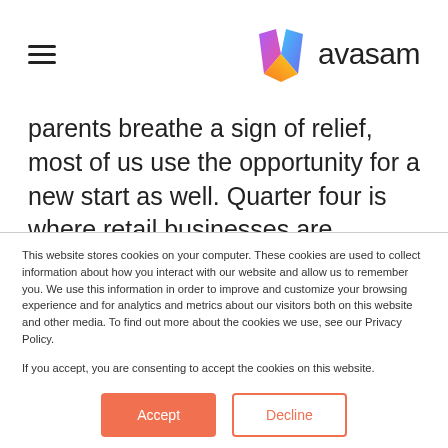avasam
parents breathe a sign of relief, most of us use the opportunity for a new start as well. Quarter four is where retail businesses are gearing up for their busiest time of the year, where the bulk of sales tend to be made. With so many potential
This website stores cookies on your computer. These cookies are used to collect information about how you interact with our website and allow us to remember you. We use this information in order to improve and customize your browsing experience and for analytics and metrics about our visitors both on this website and other media. To find out more about the cookies we use, see our Privacy Policy.
If you accept, you are consenting to accept the cookies on this website.